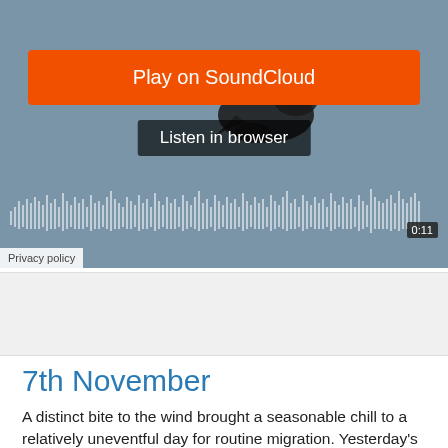[Figure (screenshot): SoundCloud embedded audio player widget with orange 'Play on SoundCloud' button, 'Listen in browser' dark pill button, bird silhouette against blue-grey background, audio waveform visualization, timestamp 0:11, and Privacy policy link at bottom left.]
[Figure (other): Light grey advertisement/banner placeholder area]
7th November
A distinct bite to the wind brought a seasonable chill to a relatively uneventful day for routine migration. Yesterday's Little Bunting remained a regular visitor to a lucky garden in Southwells...